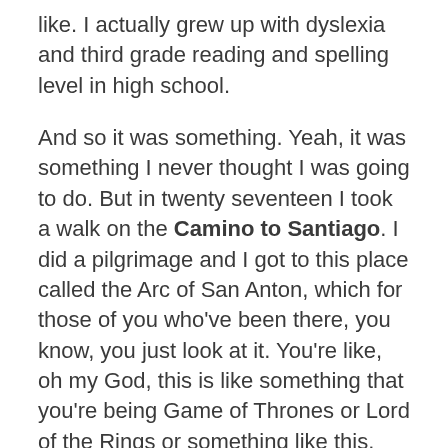like. I actually grew up with dyslexia and third grade reading and spelling level in high school.
And so it was something. Yeah, it was something I never thought I was going to do. But in twenty seventeen I took a walk on the Camino to Santiago. I did a pilgrimage and I got to this place called the Arc of San Anton, which for those of you who've been there, you know, you just look at it. You're like, oh my God, this is like something that you're being Game of Thrones or Lord of the Rings or something like this.
And I was like, somebody's got to write a